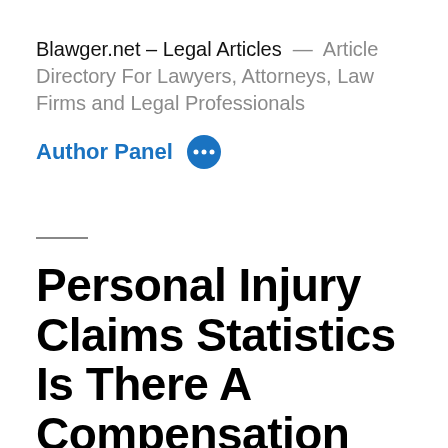Blawger.net – Legal Articles — Article Directory For Lawyers, Attorneys, Law Firms and Legal Professionals
Author Panel
Personal Injury Claims Statistics Is There A Compensation Claim Culture In The United